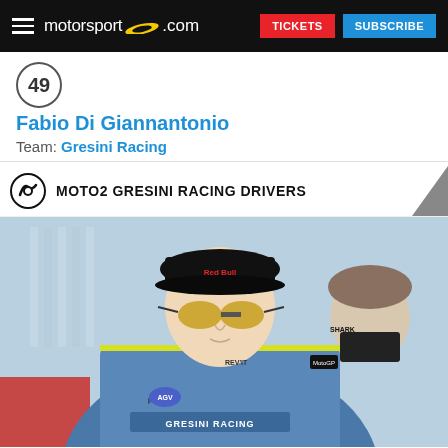motorsport.com | TICKETS | SUBSCRIBE
49
Fabio Di Giannantonio
Team: Gresini Racing
MOTO2 GRESINI RACING DRIVERS
[Figure (photo): Fabio Di Giannantonio wearing a Red Bull cap and yellow-mirrored sunglasses in Gresini Racing blue leather suit, with a masked team member behind him]